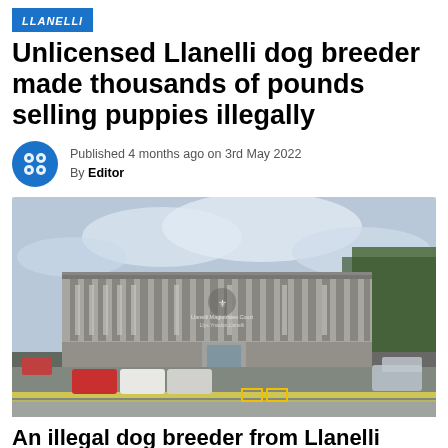LLANELLI
Unlicensed Llanelli dog breeder made thousands of pounds selling puppies illegally
Published 4 months ago on 3rd May 2022
By Editor
[Figure (photo): Exterior photograph of a concrete modernist building identified as Llanelli Magistrates Court / Llys Ynadon Llanelli, with parked cars in the foreground and trees visible on the right.]
An illegal dog breeder from Llanelli